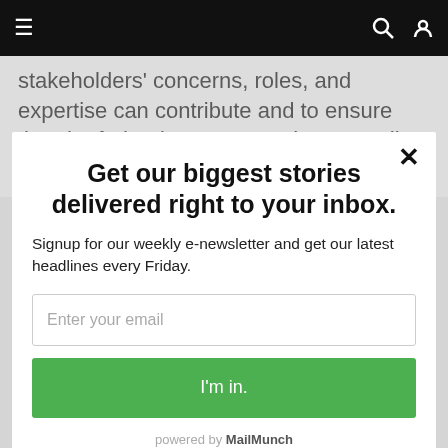≡   🔍 👤
stakeholders' concerns, roles, and expertise can contribute and to ensure that the federal government is responding in a uniform way to our local, state, and
Get our biggest stories delivered right to your inbox.
Signup for our weekly e-newsletter and get our latest headlines every Friday.
Enter your email
I'm in.
powered by MailMunch